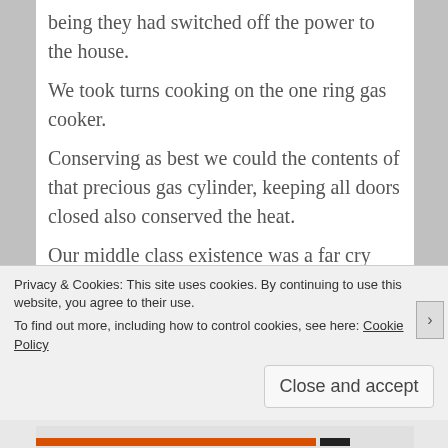being they had switched off the power to the house.
We took turns cooking on the one ring gas cooker.
Conserving as best we could the contents of that precious gas cylinder, keeping all doors closed also conserved the heat.
Our middle class existence was a far cry from how we were reared.
Back then, neighbours were friends, all looked out for one another, paying regular visits, when going to visit you brought a little something to
Privacy & Cookies: This site uses cookies. By continuing to use this website, you agree to their use.
To find out more, including how to control cookies, see here: Cookie Policy
Close and accept